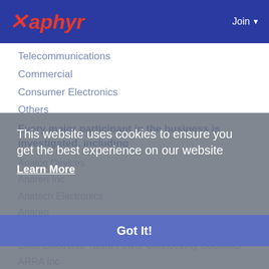Xaphyr | Join
Telecommunications
Commercial
Consumer Electronics
Others
Every major participant in the business is investigated, including
Analog Devices
Anaren Inc
Anatech Electronics
Anaren
API Technologies   Weinschel
Elma Electronic   work Power Connectivity Solutions
ARRA Inc
AtlanTecRF
Barry Industries
This website uses cookies to ensure you get the best experience on our website
Learn More
Got It!